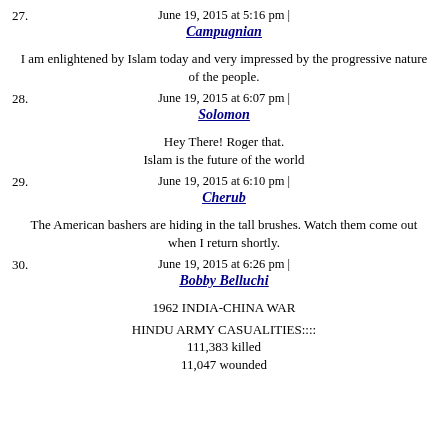June 19, 2015 at 5:16 pm |
27. Campugnian
I am enlightened by Islam today and very impressed by the progressive nature of the people.
June 19, 2015 at 6:07 pm |
28. Solomon
Hey There! Roger that. Islam is the future of the world
June 19, 2015 at 6:10 pm |
29. Cherub
The American bashers are hiding in the tall brushes. Watch them come out when I return shortly.
June 19, 2015 at 6:26 pm |
30. Bobby Belluchi
1962 INDIA-CHINA WAR
HINDU ARMY CASUALITIES:::: 111,383 killed 11,047 wounded